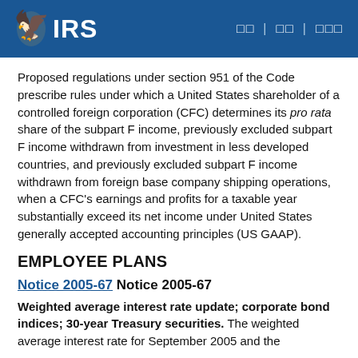IRS
Proposed regulations under section 951 of the Code prescribe rules under which a United States shareholder of a controlled foreign corporation (CFC) determines its pro rata share of the subpart F income, previously excluded subpart F income withdrawn from investment in less developed countries, and previously excluded subpart F income withdrawn from foreign base company shipping operations, when a CFC's earnings and profits for a taxable year substantially exceed its net income under United States generally accepted accounting principles (US GAAP).
EMPLOYEE PLANS
Notice 2005-67 Notice 2005-67
Weighted average interest rate update; corporate bond indices; 30-year Treasury securities. The weighted average interest rate for September 2005 and the